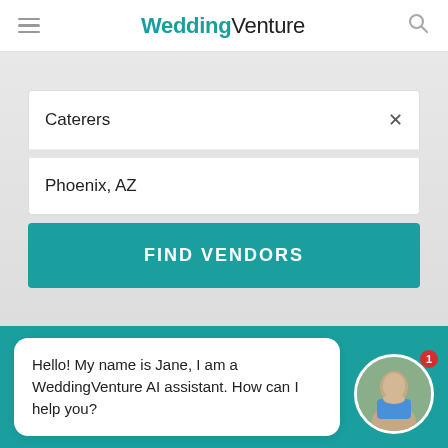WeddingVenture
Caterers
Phoenix, AZ
FIND VENDORS
Hello! My name is Jane, I am a WeddingVenture AI assistant. How can I help you?